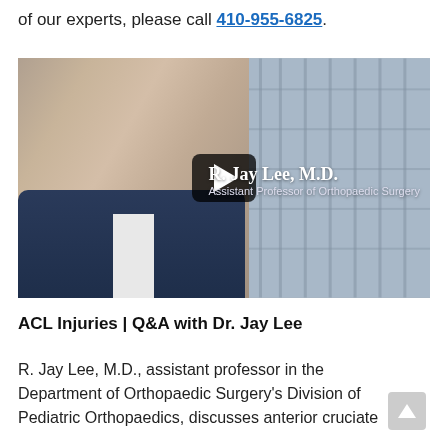of our experts, please call 410-955-6825.
[Figure (photo): Video thumbnail of R. Jay Lee, M.D., Assistant Professor of Orthopaedic Surgery, with a play button overlay. Doctor is shown in a suit in front of a modern building.]
ACL Injuries | Q&A with Dr. Jay Lee
R. Jay Lee, M.D., assistant professor in the Department of Orthopaedic Surgery's Division of Pediatric Orthopaedics, discusses anterior cruciate